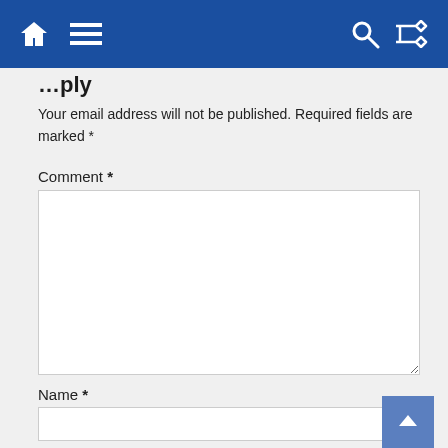Navigation bar with home, menu, search, and shuffle icons
…ply
Your email address will not be published. Required fields are marked *
Comment *
Name *
Email *